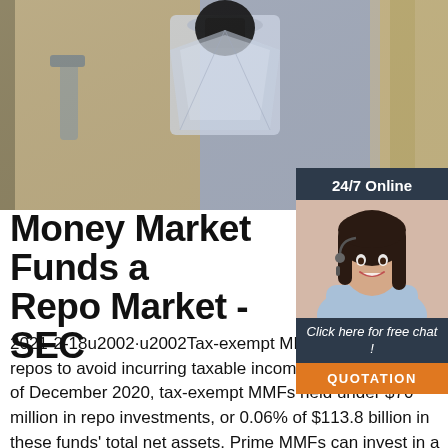[Figure (photo): Top banner photo showing a crystal/glass perfume bottle on a decorative frame background]
[Figure (photo): Sidebar panel with '24/7 Online' header, photo of a woman with headset smiling, 'Click here for free chat!' text, and orange QUOTATION button]
Money Market Funds a Repo Market - SEC
2021-2-18u2002·u2002Tax-exempt MMFs invest little in repos to avoid incurring taxable income. For example, as of December 2020, tax-exempt MMFs held under $70 million in repo investments, or 0.06% of $113.8 billion in these funds' total net assets. Prime MMFs can invest in a broad range of